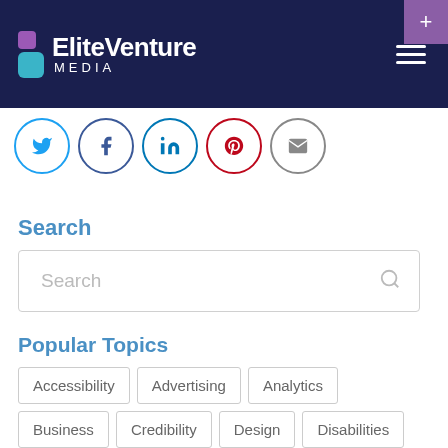[Figure (logo): EliteVenture Media logo with purple and teal icon blocks on dark navy background, with hamburger menu icon and purple plus corner]
[Figure (infographic): Row of 5 social media circles: Twitter (blue), Facebook (dark blue), LinkedIn (blue), Pinterest (red), Email (grey)]
Search
[Figure (screenshot): Search input box with placeholder text 'Search' and magnifying glass icon on right]
Popular Topics
Accessibility
Advertising
Analytics
Business
Credibility
Design
Disabilities
Ecommerce
Facebook
Google